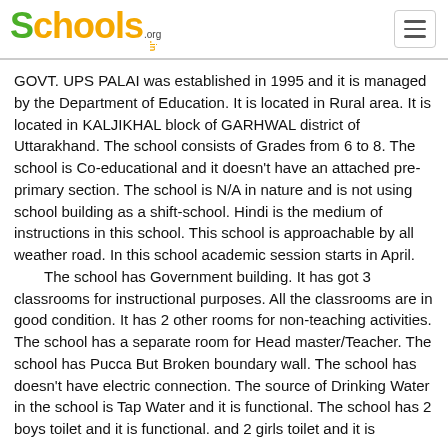Schools.org.in
GOVT. UPS PALAI was established in 1995 and it is managed by the Department of Education. It is located in Rural area. It is located in KALJIKHAL block of GARHWAL district of Uttarakhand. The school consists of Grades from 6 to 8. The school is Co-educational and it doesn't have an attached pre-primary section. The school is N/A in nature and is not using school building as a shift-school. Hindi is the medium of instructions in this school. This school is approachable by all weather road. In this school academic session starts in April.
The school has Government building. It has got 3 classrooms for instructional purposes. All the classrooms are in good condition. It has 2 other rooms for non-teaching activities. The school has a separate room for Head master/Teacher. The school has Pucca But Broken boundary wall. The school has doesn't have electric connection. The source of Drinking Water in the school is Tap Water and it is functional. The school has 2 boys toilet and it is functional. and 2 girls toilet and it is functional. The school has no playground. The school has a library and has 150 books in its library. The